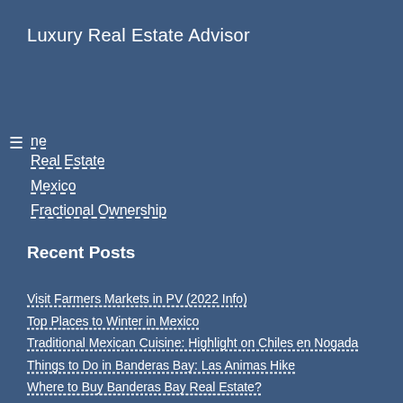Luxury Real Estate Advisor
ne
Real Estate
Mexico
Fractional Ownership
Recent Posts
Visit Farmers Markets in PV (2022 Info)
Top Places to Winter in Mexico
Traditional Mexican Cuisine: Highlight on Chiles en Nogada
Things to Do in Banderas Bay: Las Animas Hike
Where to Buy Banderas Bay Real Estate?